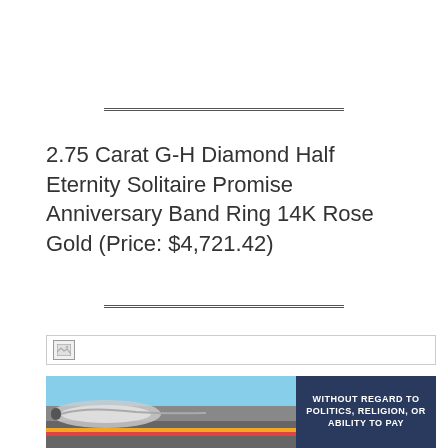2.75 Carat G-H Diamond Half Eternity Solitaire Promise Anniversary Band Ring 14K Rose Gold (Price: $4,721.42)
[Figure (other): Broken image placeholder icon]
[Figure (photo): Advertisement banner showing an airplane being loaded with cargo, with text 'WITHOUT REGARD TO POLITICS, RELIGION, OR ABILITY TO PAY' on a dark blue background]